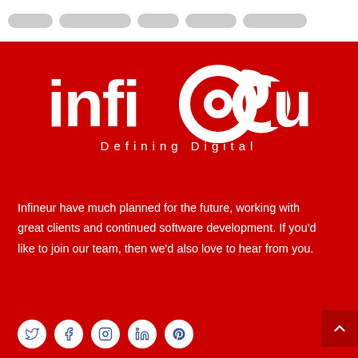[Navigation bar with pill-shaped menu items]
[Figure (logo): Infineur logo — white stylized text 'infi@eur' with circular eye motif and subtitle 'Defining Digital' on red background]
Infineur have much planned for the future, working with great clients and continued software development. If you'd like to join our team, then we'd also love to hear from you.
[Figure (infographic): Social media icons: Twitter, Facebook, Instagram, LinkedIn, Pinterest — white icons in white circles on red background]